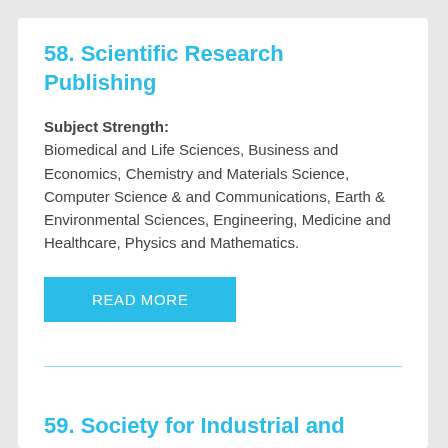58. Scientific Research Publishing
Subject Strength:
Biomedical and Life Sciences, Business and Economics, Chemistry and Materials Science, Computer Science & and Communications, Earth & Environmental Sciences, Engineering, Medicine and Healthcare, Physics and Mathematics.
READ MORE
59. Society for Industrial and